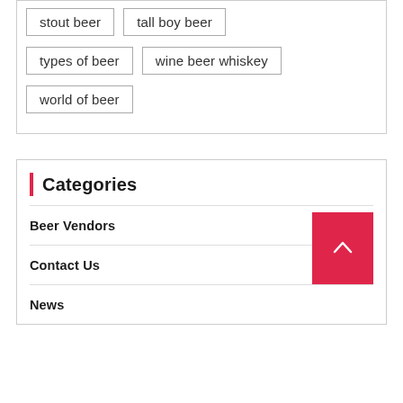stout beer
tall boy beer
types of beer
wine beer whiskey
world of beer
Categories
Beer Vendors
Contact Us
News